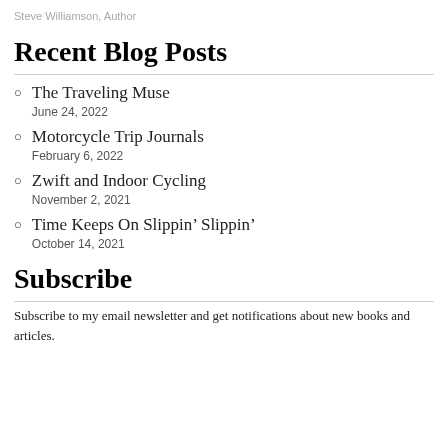Steve Williamson, Author
Recent Blog Posts
The Traveling Muse
June 24, 2022
Motorcycle Trip Journals
February 6, 2022
Zwift and Indoor Cycling
November 2, 2021
Time Keeps On Slippin’ Slippin’
October 14, 2021
Subscribe
Subscribe to my email newsletter and get notifications about new books and articles.